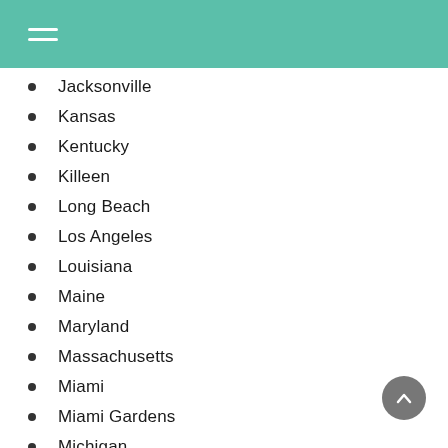Jacksonville
Kansas
Kentucky
Killeen
Long Beach
Los Angeles
Louisiana
Maine
Maryland
Massachusetts
Miami
Miami Gardens
Michigan
middleburg
Minnesota
Mississippi
Missouri